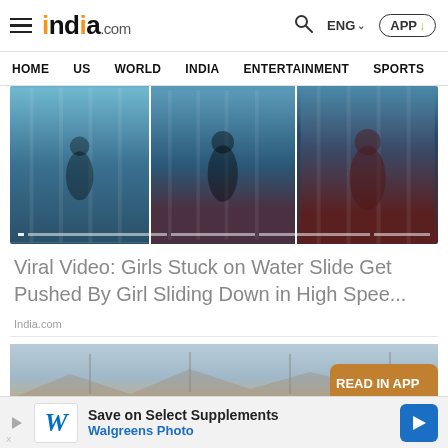india.com — HOME  US  WORLD  INDIA  ENTERTAINMENT  SPORTS  PHO
[Figure (screenshot): Three-panel video thumbnail showing girls on a water slide]
Viral Video: Girls Stuck on Water Slide Get Pushed By Girl Sliding Down in High Spee...
India.com
[Figure (photo): Aerial view of a large lot filled with cars parked in rows with 'READ IN APP' overlay badge]
[Figure (screenshot): Walgreens ad banner: Save on Select Supplements — Walgreens Photo]